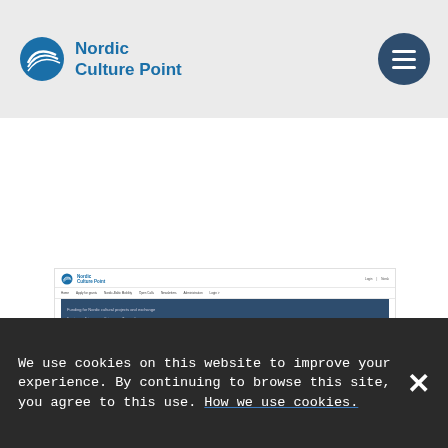Nordic Culture Point
[Figure (screenshot): Screenshot of the Nordic Culture Point website showing the homepage with navigation bar, blue hero section with tabs and a search/filter interface, and a Sammendrag section below.]
We use cookies on this website to improve your experience. By continuing to browse this site, you agree to this use. How we use cookies.